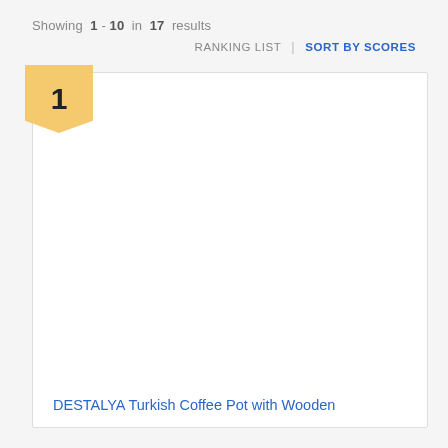Showing 1 - 10 in 17 results
RANKING LIST | SORT BY SCORES
1
DESTALYA Turkish Coffee Pot with Wooden